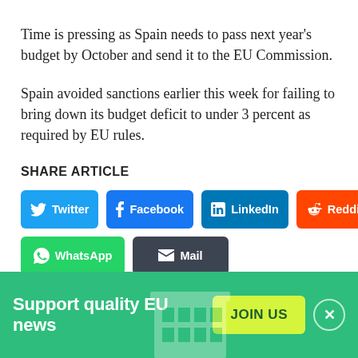Time is pressing as Spain needs to pass next year’s budget by October and send it to the EU Commission.
Spain avoided sanctions earlier this week for failing to bring down its budget deficit to under 3 percent as required by EU rules.
SHARE ARTICLE
[Figure (infographic): Social share buttons: Twitter (blue), Facebook (dark blue), LinkedIn (blue), Reddit (orange), WhatsApp (green), Mail (dark grey)]
SITE SECTION
[Figure (infographic): Green banner at page bottom with text 'Support quality EU news', a yellow-green JOIN US button, a close X button, and a faint building icon]